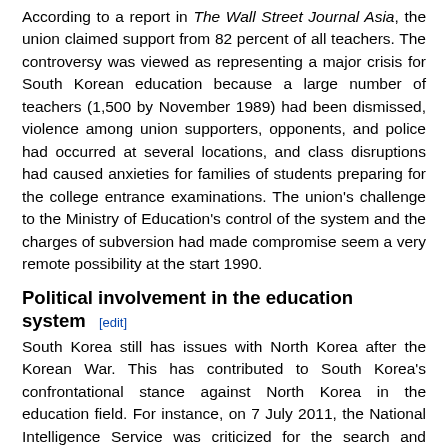According to a report in The Wall Street Journal Asia, the union claimed support from 82 percent of all teachers. The controversy was viewed as representing a major crisis for South Korean education because a large number of teachers (1,500 by November 1989) had been dismissed, violence among union supporters, opponents, and police had occurred at several locations, and class disruptions had caused anxieties for families of students preparing for the college entrance examinations. The union's challenge to the Ministry of Education's control of the system and the charges of subversion had made compromise seem a very remote possibility at the start 1990.
Political involvement in the education system [edit]
South Korea still has issues with North Korea after the Korean War. This has contributed to South Korea's confrontational stance against North Korea in the education field. For instance, on 7 July 2011, the National Intelligence Service was criticized for the search and seizure of a civilian think tank, Korea Higher Education Research Institution.[86] This incident was